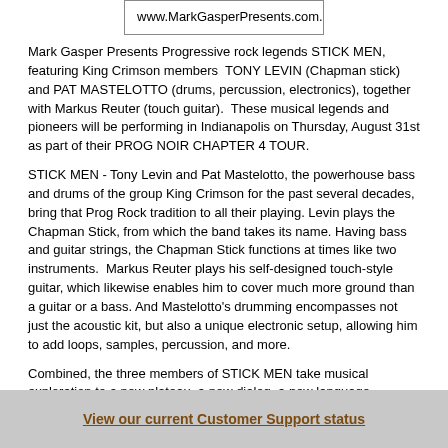www.MarkGasperPresents.com.
Mark Gasper Presents Progressive rock legends STICK MEN, featuring King Crimson members  TONY LEVIN (Chapman stick) and PAT MASTELOTTO (drums, percussion, electronics), together with Markus Reuter (touch guitar).  These musical legends and pioneers will be performing in Indianapolis on Thursday, August 31st as part of their PROG NOIR CHAPTER 4 TOUR.
STICK MEN - Tony Levin and Pat Mastelotto, the powerhouse bass and drums of the group King Crimson for the past several decades, bring that Prog Rock tradition to all their playing. Levin plays the Chapman Stick, from which the band takes its name. Having bass and guitar strings, the Chapman Stick functions at times like two instruments.  Markus Reuter plays his self-designed touch-style guitar, which likewise enables him to cover much more ground than a guitar or a bass. And Mastelotto's drumming encompasses not just the acoustic kit, but also a unique electronic setup, allowing him to add loops, samples, percussion, and more.
Combined, the three members of STICK MEN take musical exploration to a new plateau, a new dialog, a new language.
The band's latest studio album, Prog Noir, was released in October 2016,
View our current Customer Support status